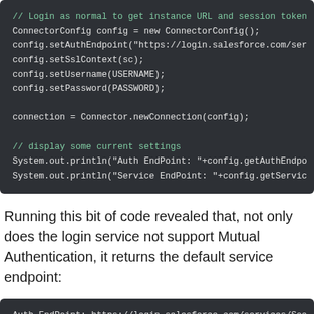[Figure (screenshot): Code block showing Java code for Salesforce connector login and settings display]
Running this bit of code revealed that, not only does the login service not support Mutual Authentication, it returns the default service endpoint:
[Figure (screenshot): Code output showing Auth EndPoint and Service EndPoint URLs]